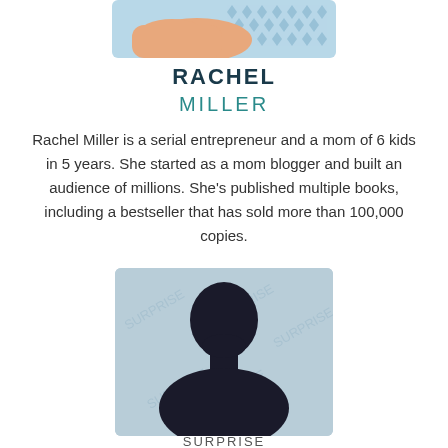[Figure (photo): Top portion of a person's image (torso/hands area) with patterned clothing on a light blue background, cropped at bottom of frame]
RACHEL
MILLER
Rachel Miller is a serial entrepreneur and a mom of 6 kids in 5 years. She started as a mom blogger and built an audience of millions. She's published multiple books, including a bestseller that has sold more than 100,000 copies.
[Figure (photo): Silhouette of a person's head and shoulders against a light blue background with repeated text 'SURPRISE' watermark pattern]
SURPRISE